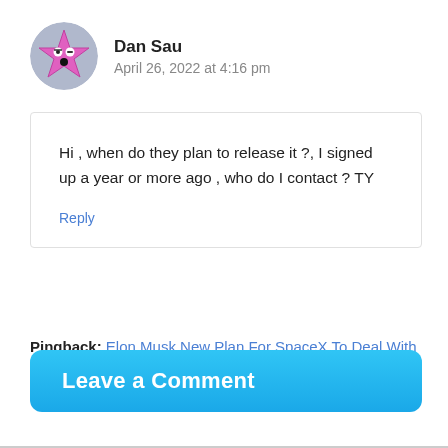[Figure (illustration): Circular avatar with a cartoon pink star character with a surprised face]
Dan Sau
April 26, 2022 at 4:16 pm
Hi , when do they plan to release it ?, I signed up a year or more ago , who do I contact ? TY
Reply
Pingback: Elon Musk New Plan For SpaceX To Deal With FAA
Leave a Comment